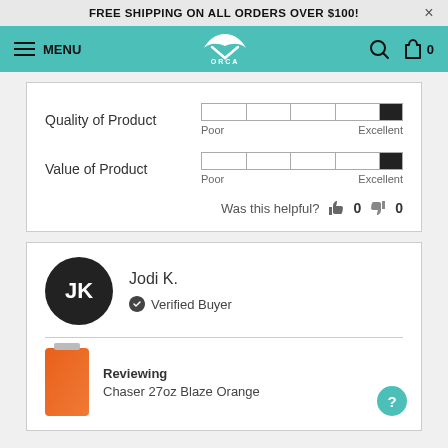FREE SHIPPING ON ALL ORDERS OVER $100!
[Figure (logo): ORCA brand logo with navigation bar (hamburger menu, MENU text, ORCA whale logo, search icon, bag icon with 0)]
Quality of Product — rating bar from Poor to Excellent (filled near Excellent)
Value of Product — rating bar from Poor to Excellent (filled near Excellent)
Was this helpful? 👍 0 👎 0
JK — Jodi K. — Verified Buyer
Reviewing — Chaser 27oz Blaze Orange